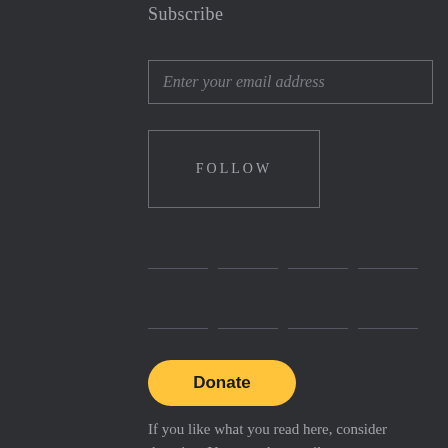Subscribe
Enter your email address
FOLLOW
[Figure (other): Horizontal divider lines arranged in two rows]
[Figure (other): PayPal Donate button — yellow rounded rectangle with bold black text 'Donate']
If you like what you read here, consider donating. You can also email me to arrange